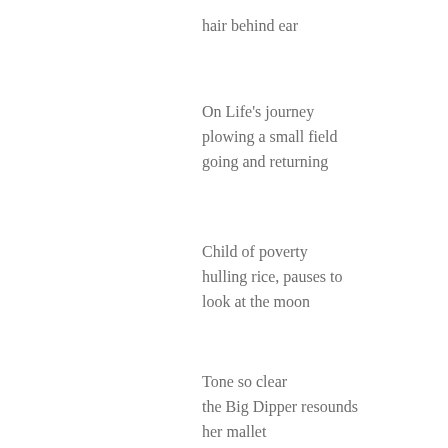hair behind ear
On Life's journey
plowing a small field
going and returning
Child of poverty
hulling rice, pauses to
look at the moon
Tone so clear
the Big Dipper resounds
her mallet